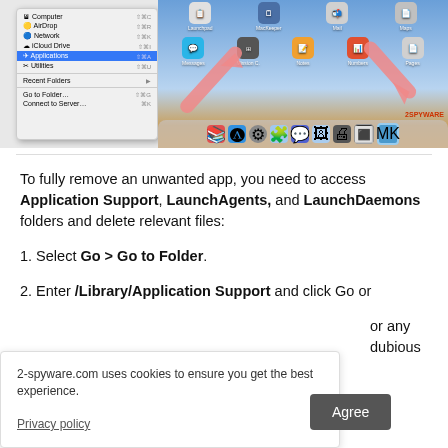[Figure (screenshot): Mac OS Finder 'Go' menu open showing items: Computer, AirDrop, Network, iCloud Drive, Applications (highlighted in blue), Utilities, Recent Folders, Go to Folder..., Connect to Server... with keyboard shortcuts. Next to it is a Mac desktop showing app icons and dock with pink/salmon arrows pointing at icons.]
To fully remove an unwanted app, you need to access Application Support, LaunchAgents, and LaunchDaemons folders and delete relevant files:
1. Select Go > Go to Folder.
2. Enter /Library/Application Support and click Go or
or any dubious
2-spyware.com uses cookies to ensure you get the best experience.
Privacy policy   [Agree]